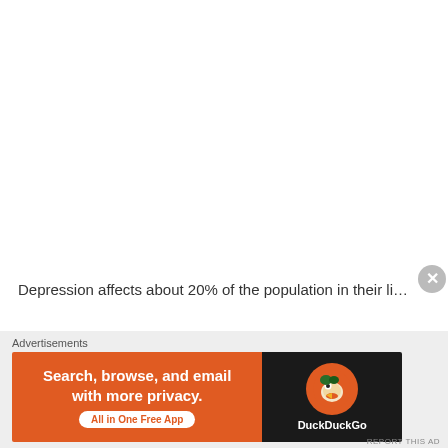Depression affects about 20% of the population in their li…
Advertisements
[Figure (other): DuckDuckGo advertisement banner: orange left panel with text 'Search, browse, and email with more privacy. All in One Free App' and dark right panel with DuckDuckGo logo and duck icon.]